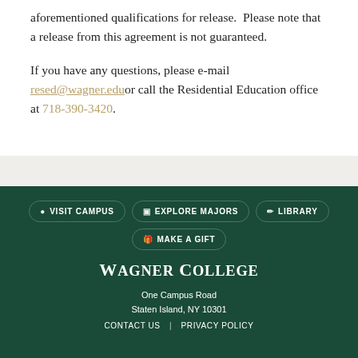aforementioned qualifications for release.  Please note that a release from this agreement is not guaranteed.
If you have any questions, please e-mail resed@wagner.edu or call the Residential Education office at 718-390-3420.
VISIT CAMPUS   EXPLORE MAJORS   LIBRARY   MAKE A GIFT
WAGNER COLLEGE
One Campus Road
Staten Island, NY 10301
CONTACT US  |  PRIVACY POLICY